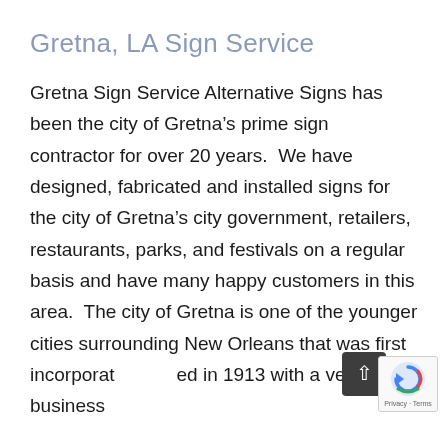Gretna, LA Sign Service
Gretna Sign Service Alternative Signs has been the city of Gretna’s prime sign contractor for over 20 years.  We have designed, fabricated and installed signs for the city of Gretna’s city government, retailers, restaurants, parks, and festivals on a regular basis and have many happy customers in this area.  The city of Gretna is one of the younger cities surrounding New Orleans that was first incorporated in 1913 with a very pro-business